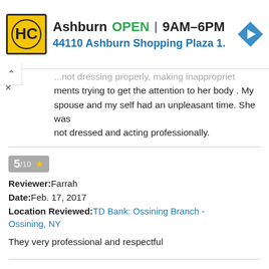[Figure (screenshot): Ad banner showing HC logo, Ashburn location, OPEN 9AM-6PM, 44110 Ashburn Shopping Plaza 1., and navigation arrow icon]
...not dressing properly, making inappropriate comments trying to get the attention to her body . My spouse and my self had an unpleasant time. She was not dressed and acting professionally.
5/10 ★
Reviewer: Farrah
Date: Feb. 17, 2017
Location Reviewed: TD Bank: Ossining Branch - Ossining, NY

They very professional and respectful
Reviewer: Denis Predovan
Date: Jan. 18, 2017
Location Reviewed: TD Bank: Ft. Lauderdale 17th Street Branch - Fort Lauderdale, FL